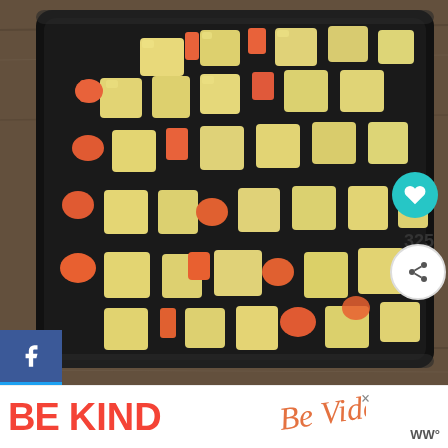[Figure (photo): A black baking sheet pan covered with chopped rutabaga (pale yellow cubes), parsnips, and orange carrot pieces, spread out on the dark pan, photographed from above on a wood surface. Social media sharing buttons (Facebook, Twitter, Pinterest, Email) appear on the left side. A teal heart button and share count of 325 appear on the right.]
Spread the rutabaga, parsnips, and carrots on a large baking sheet and toss them with some olive oil...